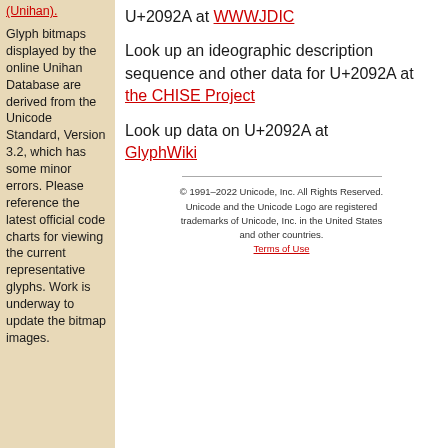(Unihan).
Glyph bitmaps displayed by the online Unihan Database are derived from the Unicode Standard, Version 3.2, which has some minor errors. Please reference the latest official code charts for viewing the current representative glyphs. Work is underway to update the bitmap images.
U+2092A at WWWJDIC
Look up an ideographic description sequence and other data for U+2092A at the CHISE Project
Look up data on U+2092A at GlyphWiki
© 1991-2022 Unicode, Inc. All Rights Reserved. Unicode and the Unicode Logo are registered trademarks of Unicode, Inc. in the United States and other countries.
Terms of Use